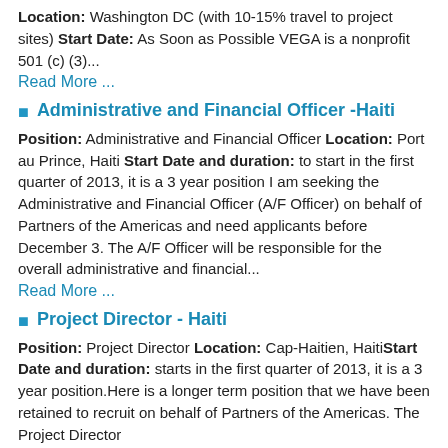Location: Washington DC (with 10-15% travel to project sites) Start Date: As Soon as Possible VEGA is a nonprofit 501 (c) (3)...
Read More ...
Administrative and Financial Officer -Haiti
Position: Administrative and Financial Officer Location: Port au Prince, Haiti Start Date and duration: to start in the first quarter of 2013, it is a 3 year position I am seeking the Administrative and Financial Officer (A/F Officer) on behalf of Partners of the Americas and need applicants before December 3. The A/F Officer will be responsible for the overall administrative and financial...
Read More ...
Project Director - Haiti
Position: Project Director Location: Cap-Haitien, HaitiStart Date and duration: starts in the first quarter of 2013, it is a 3 year position.Here is a longer term position that we have been retained to recruit on behalf of Partners of the Americas. The Project Director